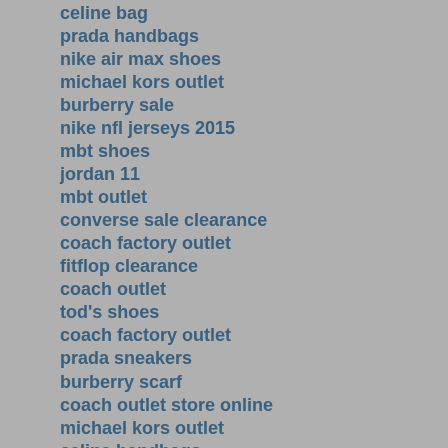celine bag
prada handbags
nike air max shoes
michael kors outlet
burberry sale
nike nfl jerseys 2015
mbt shoes
jordan 11
mbt outlet
converse sale clearance
coach factory outlet
fitflop clearance
coach outlet
tod's shoes
coach factory outlet
prada sneakers
burberry scarf
coach outlet store online
michael kors outlet
celine handbags
christian louboutin outlet
michael kors outlet
michael kors handbags clearance 75% off